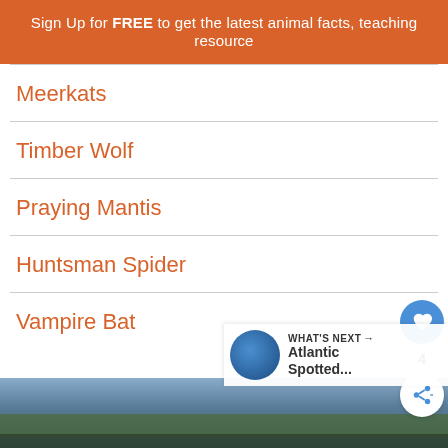Sign Up for FREE to get the latest animal facts, teaching resource
Meerkats
Timber Wolf
Praying Mantis
Huntsman Spider
Vampire Bat
[Figure (photo): Landscape photo of water and vegetation at the bottom of the page]
WHAT'S NEXT → Atlantic Spotted...